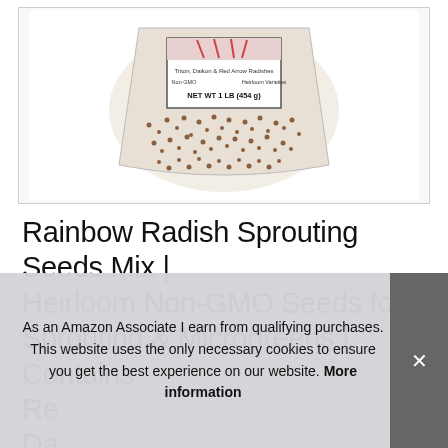[Figure (photo): Photograph of a plastic bag of Rainbow Radish Sprouting Seeds Mix, label reads: Triton, Daikon & Red Arrow Radishes, Non GMO, Heirloom Varieties, NET WT 1 LB (454 g). The bag is filled with small brown/reddish seeds.]
Rainbow Radish Sprouting Seeds Mix | Heirloom Non-GMO Seeds for Sprouting & Microgreens | Contains Re... Da... Ba...
As an Amazon Associate I earn from qualifying purchases. This website uses the only necessary cookies to ensure you get the best experience on our website. More information